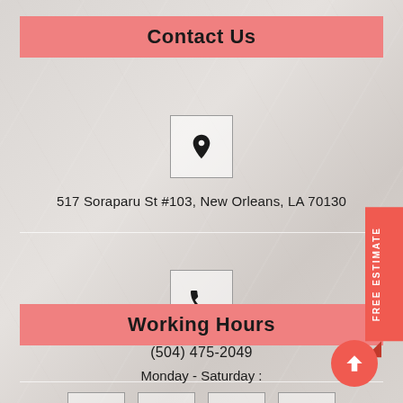Contact Us
[Figure (infographic): Location pin icon in a square border]
517 Soraparu St #103, New Orleans, LA 70130
[Figure (infographic): Phone handset icon in a square border]
(504) 475-2049
[Figure (infographic): Social media icons row: Facebook, Twitter, YouTube, Location pin]
Working Hours
Monday - Saturday :